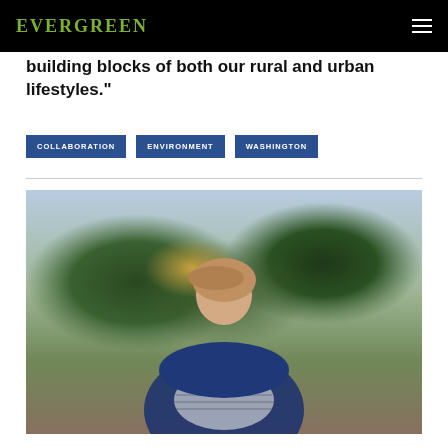EVERGREEN
building blocks of both our rural and urban lifestyles."
COLLABORATION
ENVIRONMENT
WASHINGTON
[Figure (photo): Woman with bangs and long wavy hair smiling, wearing a navy blue cardigan over a striped shirt, standing outdoors in front of green trees]